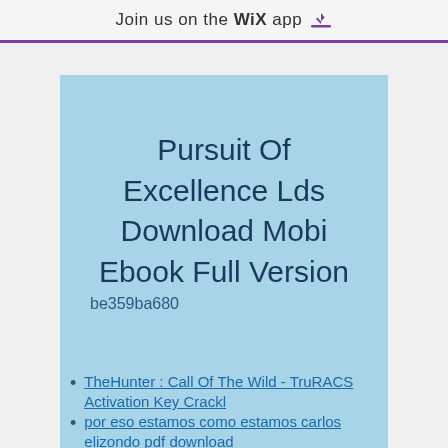Join us on the WiX app ⬇
Pursuit Of Excellence Lds Download Mobi Ebook Full Version
be359ba680
TheHunter : Call Of The Wild - TruRACS Activation Key Crackl
por eso estamos como estamos carlos elizondo pdf download